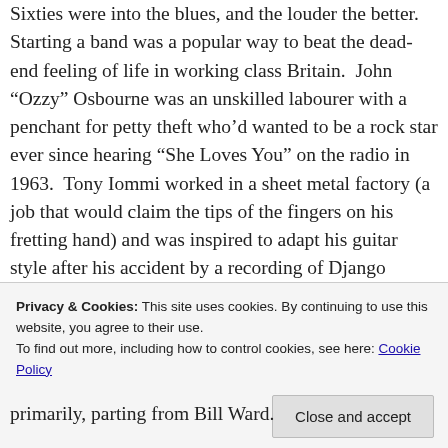Sixties were into the blues, and the louder the better. Starting a band was a popular way to beat the dead-end feeling of life in working class Britain. John “Ozzy” Osbourne was an unskilled labourer with a penchant for petty theft who’d wanted to be a rock star ever since hearing “She Loves You” on the radio in 1963. Tony Iommi worked in a sheet metal factory (a job that would claim the tips of the fingers on his fretting hand) and was inspired to adapt his guitar style after his accident by a recording of Django Reinhardt. Terence “Geezer” Butler was a working class
Privacy & Cookies: This site uses cookies. By continuing to use this website, you agree to their use. To find out more, including how to control cookies, see here: Cookie Policy
Close and accept
primarily, parting from Bill Ward.